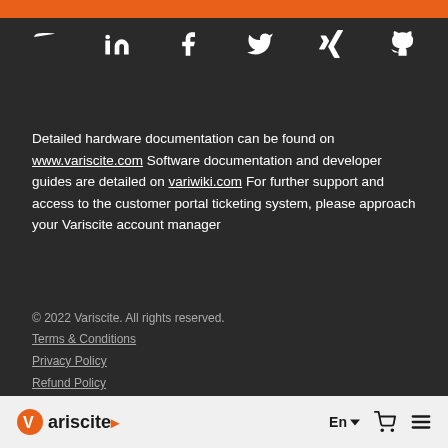[Figure (other): Orange banner bar at top of page]
[Figure (other): Social media icons row: YouTube, LinkedIn, Facebook, Twitter, Xing, GitHub]
Detailed hardware documentation can be found on www.variscite.com Software documentation and developer guides are detailed on variwiki.com For further support and access to the customer portal ticketing system, please approach your Variscite account manager
© 2022 Variscite. All rights reserved.
Terms & Conditions
Privacy Policy
Refund Policy
Variscite logo, En language selector, cart icon, menu icon